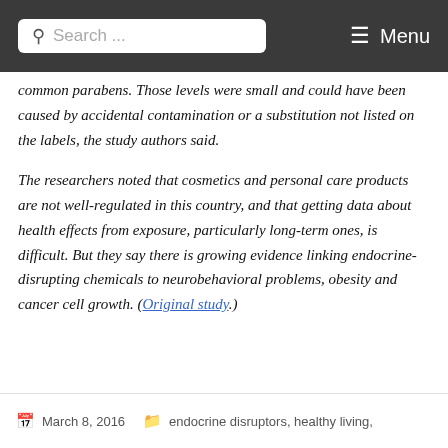Search ... Menu
common parabens. Those levels were small and could have been caused by accidental contamination or a substitution not listed on the labels, the study authors said.
The researchers noted that cosmetics and personal care products are not well-regulated in this country, and that getting data about health effects from exposure, particularly long-term ones, is difficult. But they say there is growing evidence linking endocrine-disrupting chemicals to neurobehavioral problems, obesity and cancer cell growth. (Original study.)
March 8, 2016   endocrine disruptors, healthy living,